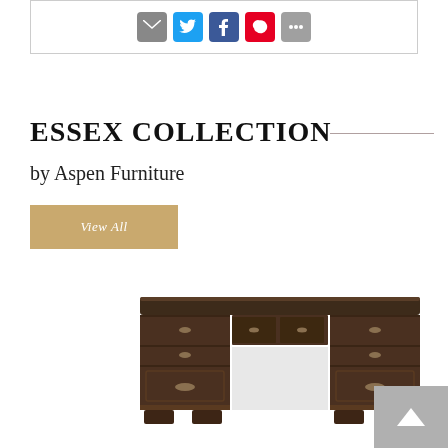[Figure (other): Social sharing icons bar with email, Twitter, Facebook, Pinterest, and more button]
ESSEX COLLECTION
by Aspen Furniture
View All
[Figure (photo): Dark brown traditional executive desk with multiple drawers and ornate hardware from the Essex Collection by Aspen Furniture]
[Figure (other): Back to top button (up chevron) in gray]